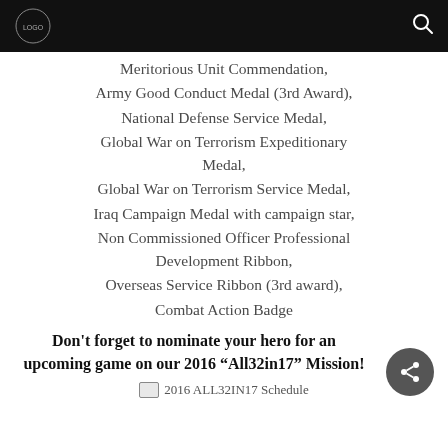Meritorious Unit Commendation,
Army Good Conduct Medal (3rd Award),
National Defense Service Medal,
Global War on Terrorism Expeditionary Medal,
Global War on Terrorism Service Medal,
Iraq Campaign Medal with campaign star,
Non Commissioned Officer Professional Development Ribbon,
Overseas Service Ribbon (3rd award),
Combat Action Badge
Don't forget to nominate your hero for an upcoming game on our 2016 “All32in17” Mission!
[Figure (other): 2016 ALL32IN17 Schedule image placeholder]